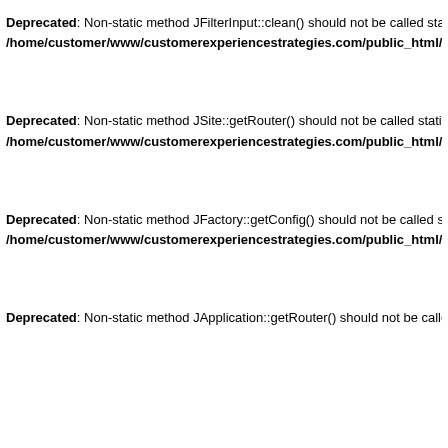Deprecated: Non-static method JFilterInput::clean() should not be called statically, assuming
/home/customer/www/customerexperiencestrategies.com/public_html/libraries/joomla
Deprecated: Non-static method JSite::getRouter() should not be called statically, assuming
/home/customer/www/customerexperiencestrategies.com/public_html/modules/mod_
Deprecated: Non-static method JFactory::getConfig() should not be called statically, assuming
/home/customer/www/customerexperiencestrategies.com/public_html/includes/applic
Deprecated: Non-static method JApplication::getRouter() should not be called statically, ass